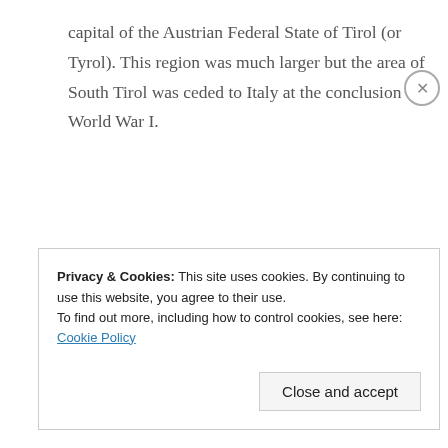capital of the Austrian Federal State of Tirol (or Tyrol). This region was much larger but the area of South Tirol was ceded to Italy at the conclusion of World War I.
Continue reading →
Privacy & Cookies: This site uses cookies. By continuing to use this website, you agree to their use. To find out more, including how to control cookies, see here: Cookie Policy